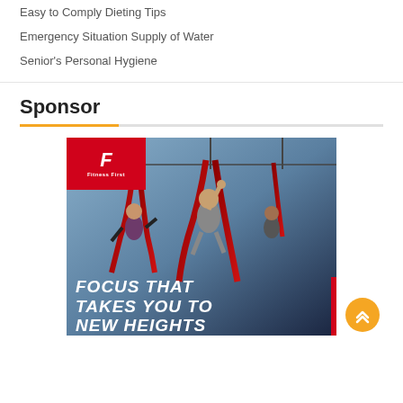Easy to Comply Dieting Tips
Emergency Situation Supply of Water
Senior's Personal Hygiene
Sponsor
[Figure (photo): Fitness First advertisement showing people doing aerial yoga/acrobatics with red silk fabric in a dark gym. Text reads 'FOCUS THAT TAKES YOU TO NEW HEIGHTS'. Red Fitness First logo in top left corner. An orange scroll-to-top button is visible in the bottom right.]